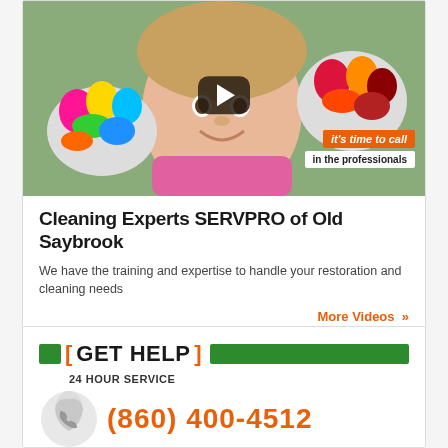[Figure (screenshot): Video thumbnail showing a child with colorful painted hands, with a play button overlay and text badges reading 'it's time to call' and 'in the professionals'. Header text reads 'SERVPRO of Old Saybrook'.]
Cleaning Experts SERVPRO of Old Saybrook
We have the training and expertise to handle your restoration and cleaning needs
More Videos »
[ GET HELP ] 24 HOUR SERVICE
(860) 400-4512